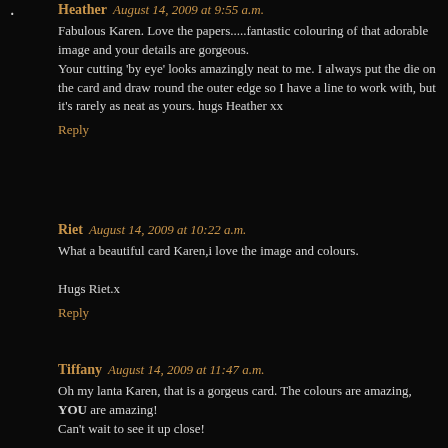Heather August 14, 2009 at 9:55 a.m.
Fabulous Karen. Love the papers.....fantastic colouring of that adorable image and your details are gorgeous.
Your cutting 'by eye' looks amazingly neat to me. I always put the die on the card and draw round the outer edge so I have a line to work with, but it's rarely as neat as yours. hugs Heather xx
Reply
Riet August 14, 2009 at 10:22 a.m.
What a beautiful card Karen,i love the image and colours.
Hugs Riet.x
Reply
Tiffany August 14, 2009 at 11:47 a.m.
Oh my lanta Karen, that is a gorgeus card. The colours are amazing, YOU are amazing!
Can't wait to see it up close!